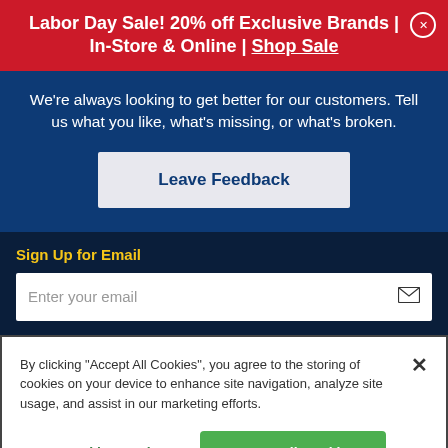Labor Day Sale! 20% off Exclusive Brands | In-Store & Online | Shop Sale
We're always looking to get better for our customers. Tell us what you like, what's missing, or what's broken.
Leave Feedback
Sign Up for Email
Enter your email
By clicking "Accept All Cookies", you agree to the storing of cookies on your device to enhance site navigation, analyze site usage, and assist in our marketing efforts.
Cookies Settings
Accept All Cookies